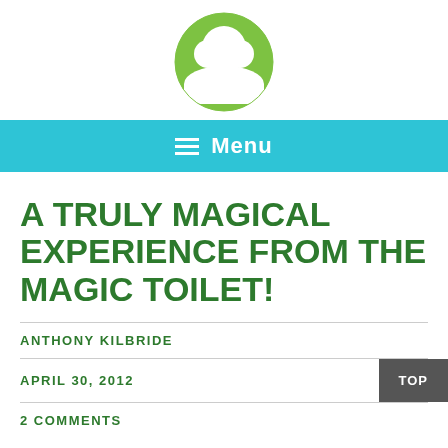[Figure (logo): SOIL organization logo — green circle with white tree and roots, text 'SOIL' in white at the bottom of the circle]
Menu
A TRULY MAGICAL EXPERIENCE FROM THE MAGIC TOILET!
ANTHONY KILBRIDE
APRIL 30, 2012
2 COMMENTS